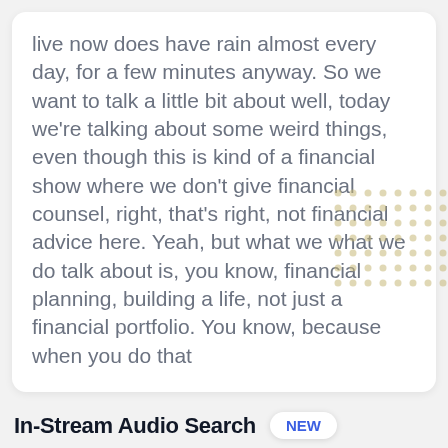live now does have rain almost every day, for a few minutes anyway. So we want to talk a little bit about well, today we're talking about some weird things, even though this is kind of a financial show where we don't give financial counsel, right, that's right, not financial advice here. Yeah, but what we what we do talk about is, you know, financial planning, building a life, not just a financial portfolio. You know, because when you do that
In-Stream Audio Search NEW
Search across all episodes within this podcast
Search for keywords, topics, people or in
Episodes (131)